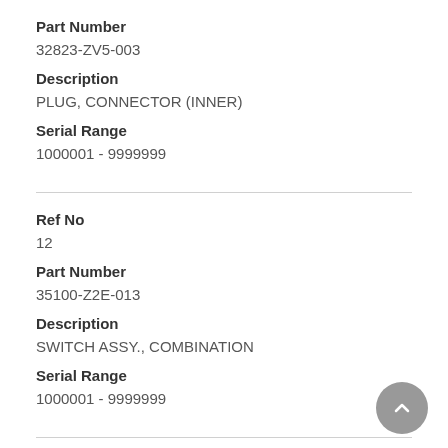Part Number
32823-ZV5-003
Description
PLUG, CONNECTOR (INNER)
Serial Range
1000001 - 9999999
Ref No
12
Part Number
35100-Z2E-013
Description
SWITCH ASSY., COMBINATION
Serial Range
1000001 - 9999999
Ref No
13
Part Number